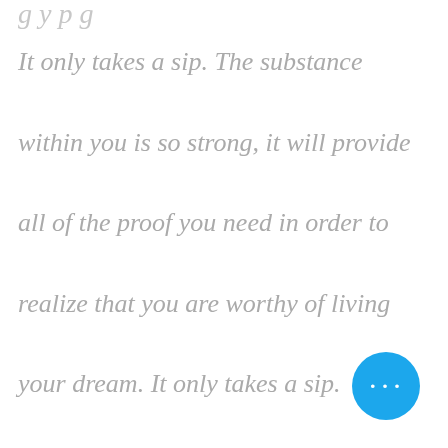[partial text cropped at top]
It only takes a sip. The substance within you is so strong, it will provide all of the proof you need in order to realize that you are worthy of living your dream. It only takes a sip. Instead of swallowing all of your pride why don't you take a sip of your higher self. Take a sip, you don't to quit your job or divorce your bad
[Figure (other): Blue circular chat/more-options button with three white dots]